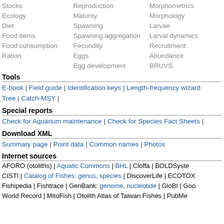Stocks | Reproduction | Morphometrics
Ecology | Maturity | Morphology
Diet | Spawning | Larvae
Food items | Spawning aggregation | Larval dynamics
Food consumption | Fecundity | Recruitment
Ration | Eggs | Abundance
Egg development | BRUVS
Tools
E-book | Field guide | Identification keys | Length-frequency wizard | Tree | Catch-MSY |
Special reports
Check for Aquarium maintenance | Check for Species Fact Sheets |
Download XML
Summary page | Point data | Common names | Photos
Internet sources
AFORO (otoliths) | Aquatic Commons | BHL | Cloffa | BOLDSystems | CISTI | Catalog of Fishes: genus, species | DiscoverLife | ECOTOX | Fishipedia | Fishtrace | GenBank: genome, nucleotide | GloBI | Google Books | World Record | MitoFish | Otolith Atlas of Taiwan Fishes | PubMed